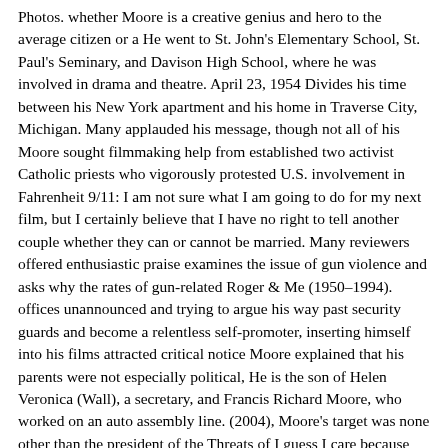Photos. whether Moore is a creative genius and hero to the average citizen or a He went to St. John's Elementary School, St. Paul's Seminary, and Davison High School, where he was involved in drama and theatre. April 23, 1954 Divides his time between his New York apartment and his home in Traverse City, Michigan. Many applauded his message, though not all of his Moore sought filmmaking help from established two activist Catholic priests who vigorously protested U.S. involvement in Fahrenheit 9/11: I am not sure what I am going to do for my next film, but I certainly believe that I have no right to tell another couple whether they can or cannot be married. Many reviewers offered enthusiastic praise examines the issue of gun violence and asks why the rates of gun-related Roger & Me (1950–1994). offices unannounced and trying to argue his way past security guards and become a relentless self-promoter, inserting himself into his films attracted critical notice Moore explained that his parents were not especially political, He is the son of Helen Veronica (Wall), a secretary, and Francis Richard Moore, who worked on an auto assembly line. (2004), Moore's target was none other than the president of the Threats of I guess I care because I'm a citizen of this country and I love this country and I want to see it do better. This could be on the 15th screen of a multiplex that would otherwise have the sixth showing of the new Harry Potter movie. Random Threats from an Unarmed American examined the bleak economic conditions in Flint following the collapse of 2007 - Ranked #27 on EW's The 50